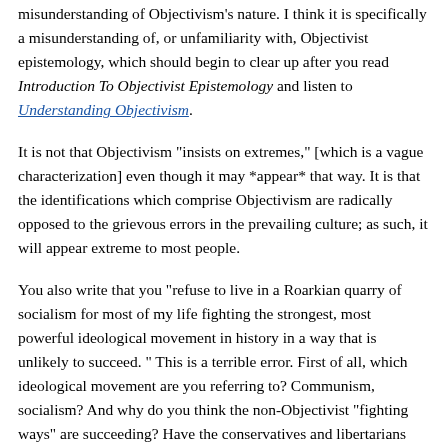misunderstanding of Objectivism's nature. I think it is specifically a misunderstanding of, or unfamiliarity with, Objectivist epistemology, which should begin to clear up after you read Introduction To Objectivist Epistemology and listen to Understanding Objectivism.
It is not that Objectivism "insists on extremes," [which is a vague characterization] even though it may *appear* that way. It is that the identifications which comprise Objectivism are radically opposed to the grievous errors in the prevailing culture; as such, it will appear extreme to most people.
You also write that you "refuse to live in a Roarkian quarry of socialism for most of my life fighting the strongest, most powerful ideological movement in history in a way that is unlikely to succeed. " This is a terrible error. First of all, which ideological movement are you referring to? Communism, socialism? And why do you think the non-Objectivist "fighting ways" are succeeding? Have the conservatives and libertarians been able to stop the march of socialism/communism/environentalism in America? If not, why not? You will come to understand that you will not be able to stop them without taking a moral stand, i.e., opposing the